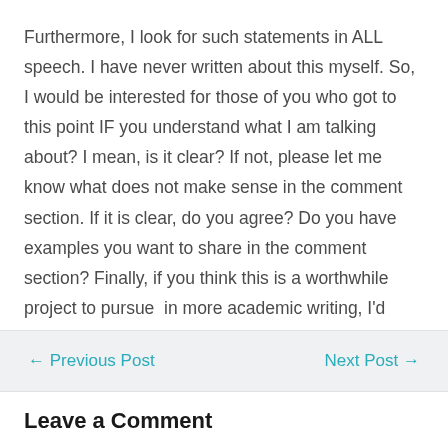Furthermore, I look for such statements in ALL speech.  I have never written about this myself.  So, I would be interested for those of you who got to this point IF you understand what I am talking about? I mean, is it clear? If not, please let me know what does not make sense in the comment section. If it is clear, do you agree? Do you have examples you want to share in the comment section? Finally, if you think this is a worthwhile project to pursue  in more academic writing, I'd appreciate your recommendation.  Thanks LOVE and light
← Previous Post    Next Post →
Leave a Comment